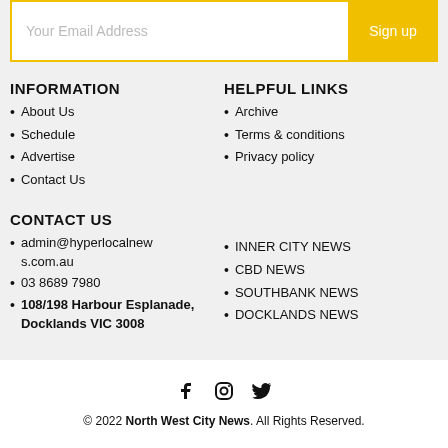Your Email Address
Sign up
INFORMATION
About Us
Schedule
Advertise
Contact Us
HELPFUL LINKS
Archive
Terms & conditions
Privacy policy
CONTACT US
admin@hyperlocalnews.com.au
03 8689 7980
108/198 Harbour Esplanade, Docklands VIC 3008
INNER CITY NEWS
CBD NEWS
SOUTHBANK NEWS
DOCKLANDS NEWS
© 2022 North West City News. All Rights Reserved.